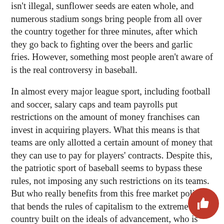isn't illegal, sunflower seeds are eaten whole, and numerous stadium songs bring people from all over the country together for three minutes, after which they go back to fighting over the beers and garlic fries. However, something most people aren't aware of is the real controversy in baseball.
In almost every major league sport, including football and soccer, salary caps and team payrolls put restrictions on the amount of money franchises can invest in acquiring players. What this means is that teams are only allotted a certain amount of money that they can use to pay for players' contracts. Despite this, the patriotic sport of baseball seems to bypass these rules, not imposing any such restrictions on its teams. But who really benefits from this free market policy that bends the rules of capitalism to the extreme? In a country built on the ideals of advancement, who is being sacrificed for the well-being of the team?
The fans, that's who. It's sad that, by acquiring the best and most expensive players to make the fans happy, ironically, the teams in baseball are only hurting their fans more. So in other words, you are being taxed for your loyalty and support.